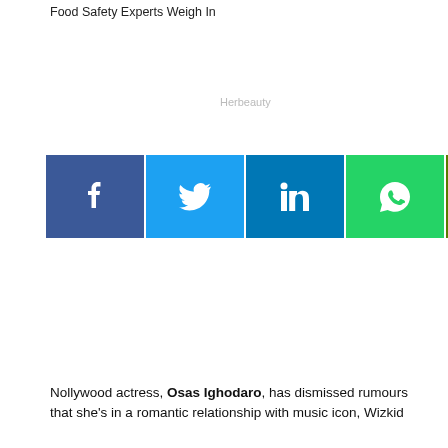Food Safety Experts Weigh In
Memorable Looks
Herbeauty
Brainberries
[Figure (other): Social media share buttons: Facebook (blue), Twitter (light blue), LinkedIn (dark blue), WhatsApp (green), Email (olive/green), Telegram (blue), Pinterest (red)]
Nollywood actress, Osas Ighodaro, has dismissed rumours that she's in a romantic relationship with music icon, Wizkid